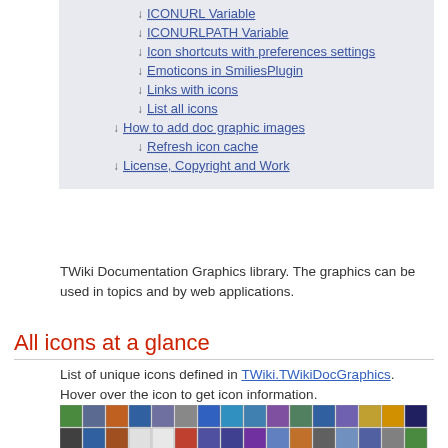↓ ICONURL Variable
↓ ICONURLPATH Variable
↓ Icon shortcuts with preferences settings
↓ Emoticons in SmiliesPlugin
↓ Links with icons
↓ List all icons
↓ How to add doc graphic images
↓ Refresh icon cache
↓ License, Copyright and Work
TWiki Documentation Graphics library. The graphics can be used in topics and by web applications.
All icons at a glance
List of unique icons defined in TWiki.TWikiDocGraphics. Hover over the icon to get icon information.
[Figure (illustration): Grid of small colorful icons representing various actions and file types from TWiki documentation graphics library.]